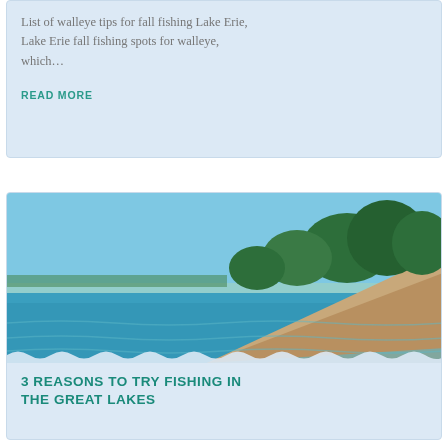List of walleye tips for fall fishing Lake Erie, Lake Erie fall fishing spots for walleye, which…
READ MORE
[Figure (photo): Scenic Great Lakes shoreline with clear blue-green water, rocky shore, and a dense tree line on a rocky peninsula under a bright blue sky.]
3 REASONS TO TRY FISHING IN THE GREAT LAKES